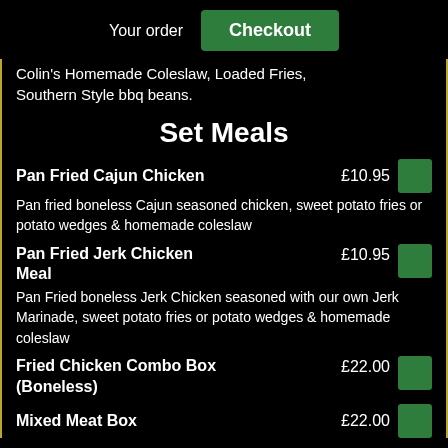Your order | Checkout
Colin's Homemade Coleslaw, Loaded Fries, Southern Style bbq beans.
Set Meals
Pan Fried Cajun Chicken £10.95 — Pan fried boneless Cajun seasoned chicken, sweet potato fries or potato wedges & homemade coleslaw
Pan Fried Jerk Chicken Meal £10.95 — Pan Fried boneless Jerk Chicken seasoned with our own Jerk Marinade, sweet potato fries or potato wedges & homemade coleslaw
Fried Chicken Combo Box (Boneless) £22.00
Mixed Meat Box £22.00